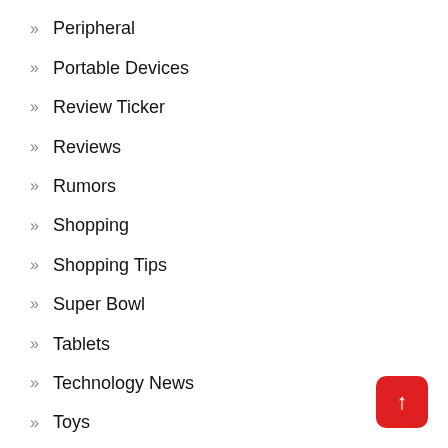Other Stuff
Peripheral
Portable Devices
Review Ticker
Reviews
Rumors
Shopping
Shopping Tips
Super Bowl
Tablets
Technology News
Toys
Uncategorized